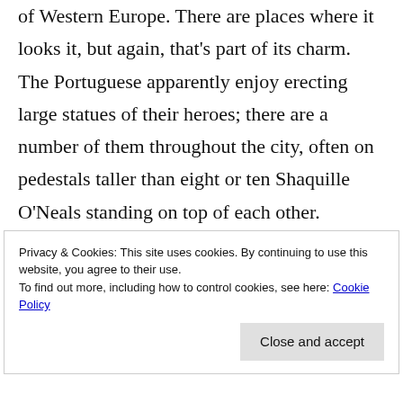of Western Europe. There are places where it looks it, but again, that's part of its charm. The Portuguese apparently enjoy erecting large statues of their heroes; there are a number of them throughout the city, often on pedestals taller than eight or ten Shaquille O'Neals standing on top of each other.
Privacy & Cookies: This site uses cookies. By continuing to use this website, you agree to their use.
To find out more, including how to control cookies, see here: Cookie Policy